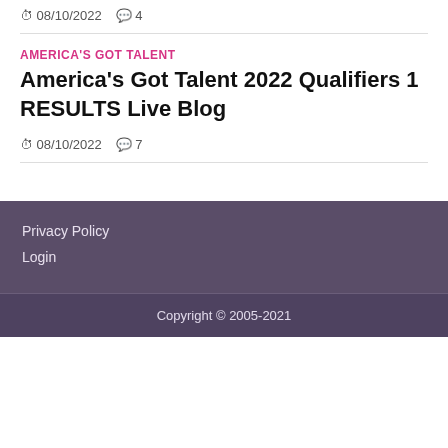08/10/2022  4
AMERICA'S GOT TALENT
America's Got Talent 2022 Qualifiers 1 RESULTS Live Blog
08/10/2022  7
Privacy Policy
Login
Copyright © 2005-2021